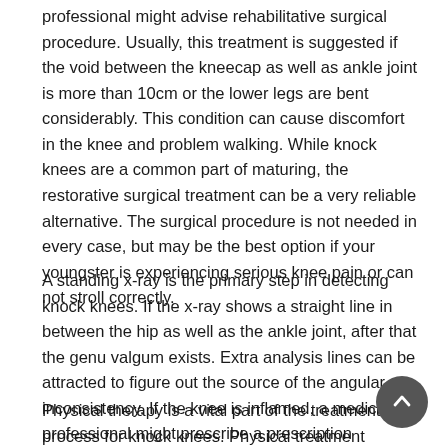professional might advise rehabilitative surgical procedure. Usually, this treatment is suggested if the void between the kneecap as well as ankle joint is more than 10cm or the lower legs are bent considerably. This condition can cause discomfort in the knee and problem walking. While knock knees are a common part of maturing, the restorative surgical treatment can be a very reliable alternative. The surgical procedure is not needed in every case, but may be the best option if your youngster is experiencing serious knee pain or can not stroll correctly.
A standing x-ray is the primary step in detecting knock knees. If the x-ray shows a straight line in between the hip as well as the ankle joint, after that the genu valgum exists. Extra analysis lines can be attracted to figure out the source of the angular inconsistency. If the knee is inflamed, a medical professional might prescribe a prescription medicine. The prescription drug might additionally consist of physical treatment.
Physical therapy is a vital part of the treatment process for knock knees. Physical treatment strengthens leg muscle mass as